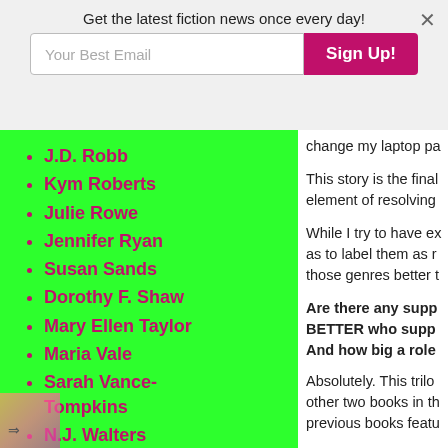Get the latest fiction news once every day!
J.D. Robb
Kym Roberts
Julie Rowe
Jennifer Ryan
Susan Sands
Dorothy F. Shaw
Mary Ellen Taylor
Maria Vale
Sarah Vance-Tompkins
N.J. Walters
Tracy Wolff
change my laptop pa
This story is the final element of resolving
While I try to have ex as to label them as r those genres better t
Are there any supp BETTER who supp And how big a role
Absolutely. This trilo other two books in th previous books featu